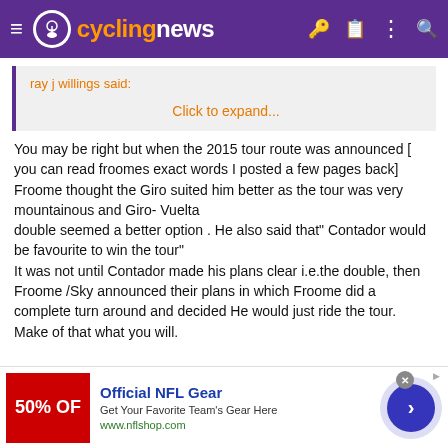cyclingnews
ray j willings said:
Click to expand...
You may be right but when the 2015 tour route was announced [ you can read froomes exact words I posted a few pages back] Froome thought the Giro suited him better as the tour was very mountainous and Giro- Vuelta double seemed a better option . He also said that" Contador would be favourite to win the tour"
It was not until Contador made his plans clear i.e.the double, then Froome /Sky announced their plans in which Froome did a complete turn around and decided He would just ride the tour.
Make of that what you will.
[Figure (other): Advertisement banner: Official NFL Gear - Get Your Favorite Team's Gear Here - www.nflshop.com with red 50% OFF image and blue circle arrow button]